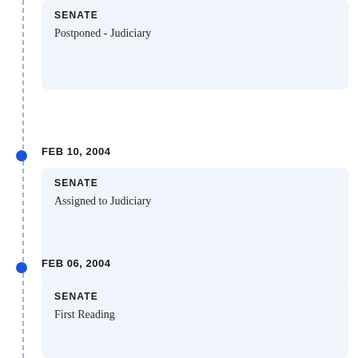SENATE
Postponed - Judiciary
FEB 10, 2004
SENATE
Assigned to Judiciary
FEB 06, 2004
SENATE
First Reading